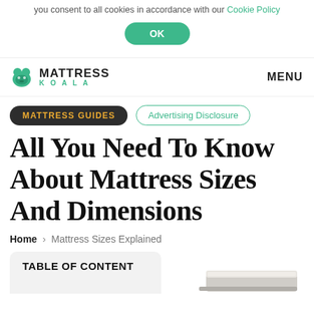you consent to all cookies in accordance with our Cookie Policy
OK
MATTRESS KOALA  MENU
MATTRESS GUIDES
Advertising Disclosure
All You Need To Know About Mattress Sizes And Dimensions
Home › Mattress Sizes Explained
TABLE OF CONTENT